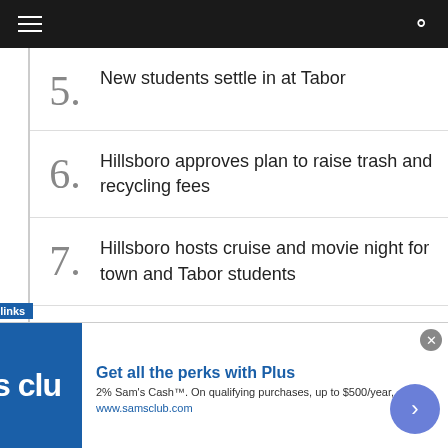5. New students settle in at Tabor
6. Hillsboro approves plan to raise trash and recycling fees
7. Hillsboro hosts cruise and movie night for town and Tabor students
8. Hillsboro and Tabor College forge new partnership
[Figure (screenshot): Advertisement banner for Sam's Club: 'Get all the perks with Plus. 2% Sam's Cash. On qualifying purchases, up to $500/year. www.samsclub.com']